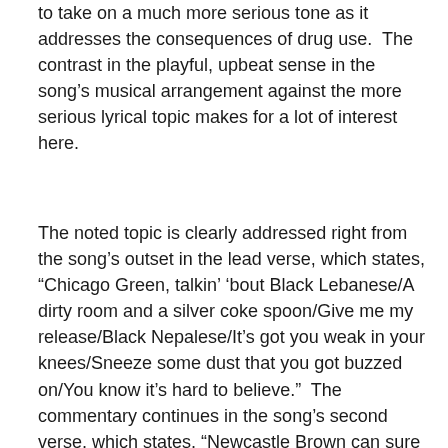to take on a much more serious tone as it addresses the consequences of drug use.  The contrast in the playful, upbeat sense in the song's musical arrangement against the more serious lyrical topic makes for a lot of interest here.
The noted topic is clearly addressed right from the song's outset in the lead verse, which states, “Chicago Green, talkin’ ‘bout Black Lebanese/A dirty room and a silver coke spoon/Give me my release/Black Nepalese/It’s got you weak in your knees/Sneeze some dust that you got buzzed on/You know it’s hard to believe.”  The commentary continues in the song’s second verse, which states, “Newcastle Brown can sure smack you down/Take a greasy whore and a rollin’ dance floor/If you live on the road, there’s a new highway code/You take the urban